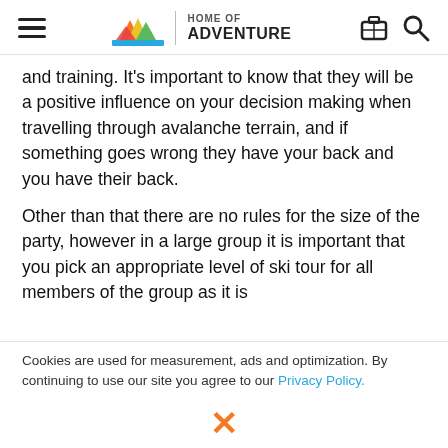Queenstown Home of Adventure — navigation header
and training. It's important to know that they will be a positive influence on your decision making when travelling through avalanche terrain, and if something goes wrong they have your back and you have their back.
Other than that there are no rules for the size of the party, however in a large group it is important that you pick an appropriate level of ski tour for all members of the group as it is
Cookies are used for measurement, ads and optimization. By continuing to use our site you agree to our Privacy Policy.